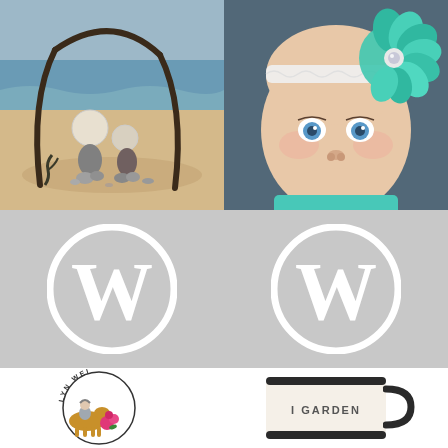[Figure (photo): Beach scene with rock figures arranged under a driftwood arch, ocean in background]
[Figure (photo): Baby girl with blue eyes wearing a large teal/mint flower headband]
[Figure (logo): Two WordPress logos (white W in circle) on gray background, side by side]
[Figure (logo): Circular logo with text LYN WEI and illustrated woman with horse and roses]
[Figure (photo): Cream enamel camping mug with text I GARDEN]